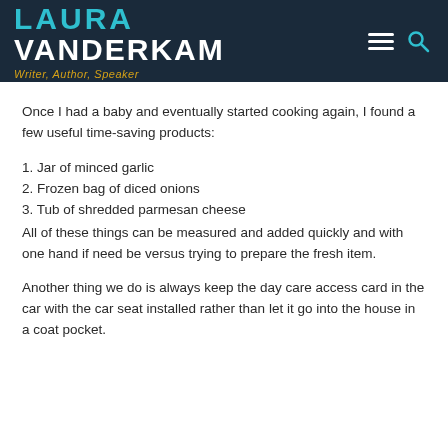LAURA VANDERKAM — Writer, Author, Speaker
Once I had a baby and eventually started cooking again, I found a few useful time-saving products:
1. Jar of minced garlic
2. Frozen bag of diced onions
3. Tub of shredded parmesan cheese
All of these things can be measured and added quickly and with one hand if need be versus trying to prepare the fresh item.
Another thing we do is always keep the day care access card in the car with the car seat installed rather than let it go into the house in a coat pocket.